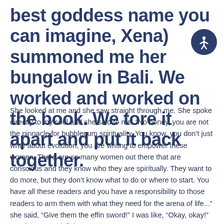best goddess name you can imagine, Xena) summoned me her bungalow in Bali. We worked and worked on the book. We tore it apart and put it back together.
She looked at me and she saw straight through me. She spoke directly to my soul and she said to me, “No honey, you are not the pinnacle for bubblegum spirituality. You know, you don’t just write about evolution, you are writing to empower these women. There are so many women out there that are conscious and they know who they are spiritually. They want to do more, but they don’t know what to do or where to start. You have all these readers and you have a responsibility to those readers to arm them with what they need for the arena of life...” she said, “Give them the effin sword!” I was like, “Okay, okay!” So, that was a defining moment.